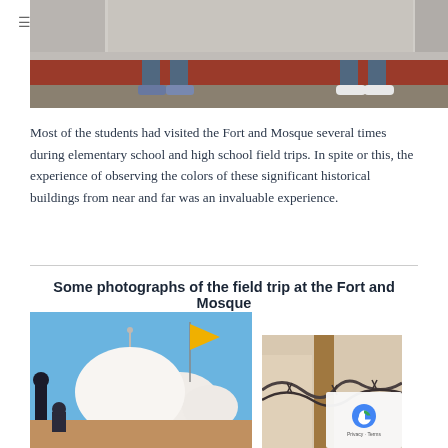[Figure (photo): Top of page: cropped photo showing feet/legs of people walking on a stone ledge or step, at a fort or mosque. Blue jeans and sneakers visible.]
Most of the students had visited the Fort and Mosque several times during elementary school and high school field trips. In spite or this, the experience of observing the colors of these significant historical buildings from near and far was an invaluable experience.
Some photographs of the field trip at the Fort and Mosque
[Figure (photo): Photograph of white domed temple/mosque structures with a yellow flag, blue sky background, and figures in the foreground.]
[Figure (photo): Photograph showing barbed wire/chain on a wooden post or wall, with white background.]